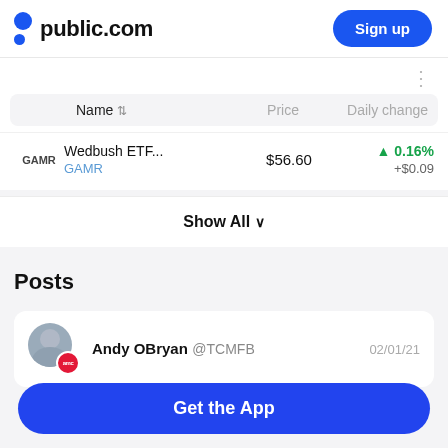public.com | Sign up
| Name | Price | Daily change |
| --- | --- | --- |
| Wedbush ETF... GAMR | $56.60 | ▲ 0.16% +$0.09 |
Show All ∨
Posts
Andy OBryan @TCMFB    02/01/21
Get the App